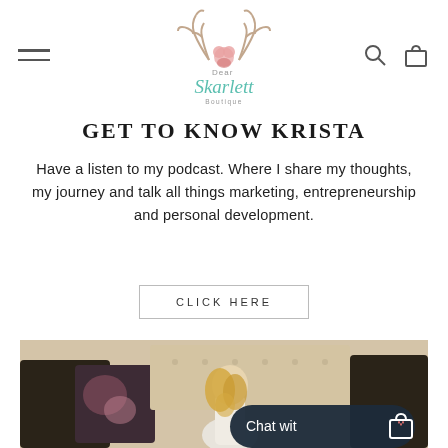Dear Skarlett Boutique — navigation header with hamburger menu, logo, search and cart icons
[Figure (logo): Dear Skarlett Boutique logo with antler illustration and script text]
GET TO KNOW KRISTA
Have a listen to my podcast. Where I share my thoughts, my journey and talk all things marketing, entrepreneurship and personal development.
CLICK HERE
[Figure (photo): Woman with blonde hair sitting on an ornate tufted beige sofa with floral and dark pillows, wearing a white outfit, looking down. A dark overlay chat widget appears in bottom right with text 'Chat wit' and a shopping bag with heart icon.]